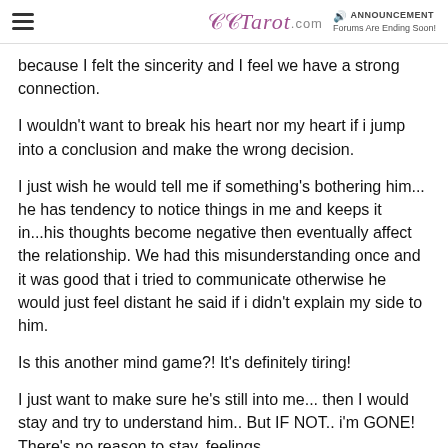Tarot.com | ANNOUNCEMENT Forums Are Ending Soon!
because I felt the sincerity and I feel we have a strong connection.
I wouldn't want to break his heart nor my heart if i jump into a conclusion and make the wrong decision.
I just wish he would tell me if something's bothering him... he has tendency to notice things in me and keeps it in...his thoughts become negative then eventually affect the relationship. We had this misunderstanding once and it was good that i tried to communicate otherwise he would just feel distant he said if i didn't explain my side to him.
Is this another mind game?! It's definitely tiring!
I just want to make sure he's still into me... then I would stay and try to understand him.. But IF NOT.. i'm GONE! There's no reason to stay, feelings